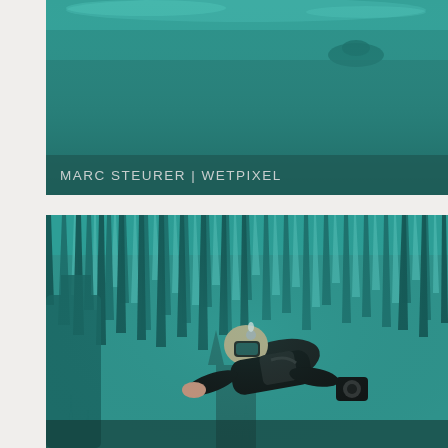[Figure (photo): Underwater cave photograph showing teal/turquoise water with shadowy formations and a diver silhouette at the top]
MARC STEURER | WETPIXEL
[Figure (photo): Underwater cave diver swimming among stalactites and stalagmites in turquoise water, holding a camera, wearing black wetsuit and diving gear]